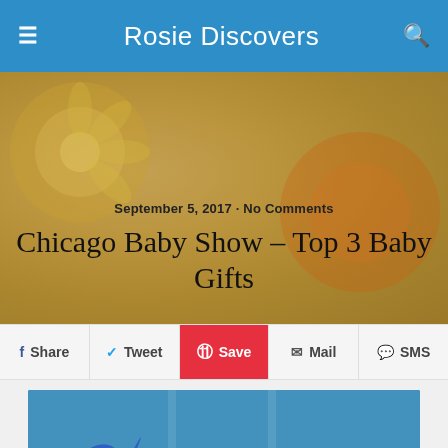Rosie Discovers
September 5, 2017 · No Comments
Chicago Baby Show – Top 3 Baby Gifts
f Share   Tweet   Save   Mail   SMS
[Figure (photo): Blue star-patterned baby pillow/plush toy shaped like a star against a teal/blue background]